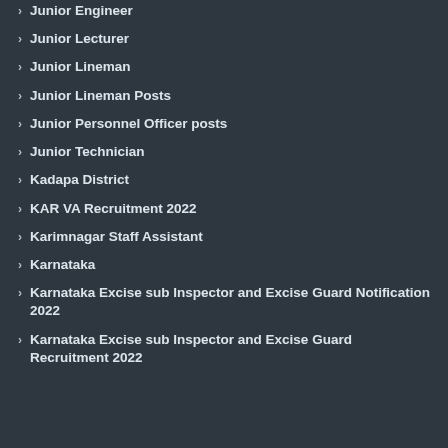Junior Engineer
Junior Lecturer
Junior Lineman
Junior Lineman Posts
Junior Personnel Officer posts
Junior Technician
Kadapa District
KAR VA Recruitment 2022
Karimnagar Staff Assistant
Karnataka
Karnataka Excise sub Inspector and Excise Guard Notification 2022
Karnataka Excise sub Inspector and Excise Guard Recruitment 2022